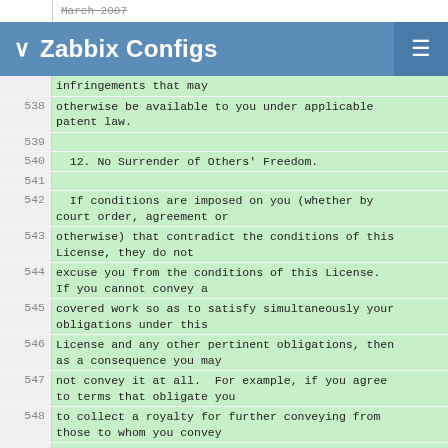March 2007
Zabbix Configs
otherwise be available to you under applicable patent law.
12. No Surrender of Others' Freedom.
If conditions are imposed on you (whether by court order, agreement or otherwise) that contradict the conditions of this License, they do not excuse you from the conditions of this License. If you cannot convey a covered work so as to satisfy simultaneously your obligations under this License and any other pertinent obligations, then as a consequence you may not convey it at all.  For example, if you agree to terms that obligate you to collect a royalty for further conveying from those to whom you convey the Program, the only way you could satisfy both those terms and this License would be to refrain entirely from conveying the Program.
13. Use with the GNU Affero General Public License.